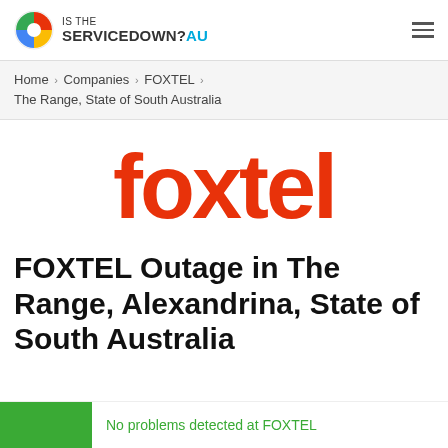IS THE SERVICEDOWN?AU
Home › Companies › FOXTEL › The Range, State of South Australia
[Figure (logo): Foxtel logo in bold red/orange text on white background]
FOXTEL Outage in The Range, Alexandrina, State of South Australia
No problems detected at FOXTEL